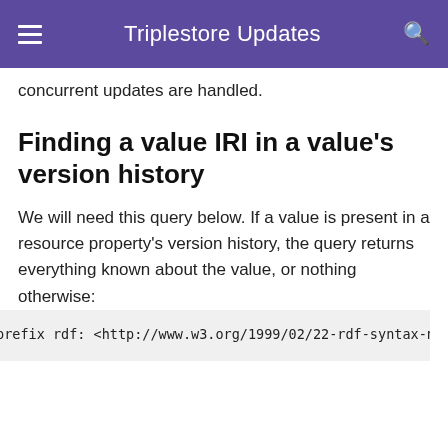Triplestore Updates
concurrent updates are handled.
Finding a value IRI in a value's version history
We will need this query below. If a value is present in a resource property's version history, the query returns everything known about the value, or nothing otherwise:
prefix rdf: <http://www.w3.org/1999/02/22-rdf-syntax-n
prefix rdfs: <http://www.w3.org/2000/01/rdf-schema#>
prefix knora-base: <http://www.knora.org/ontology/knor

SELECT ?p ?o
WHERE {
    BIND(IRI("http://rdfh.ch/c5058f3a") as ?resource)
    BIND(IRI("http://www.knora.org/ontology/0803/incun
    BIND(IRI("http://rdfh.ch/c5058f3a/values/testComme